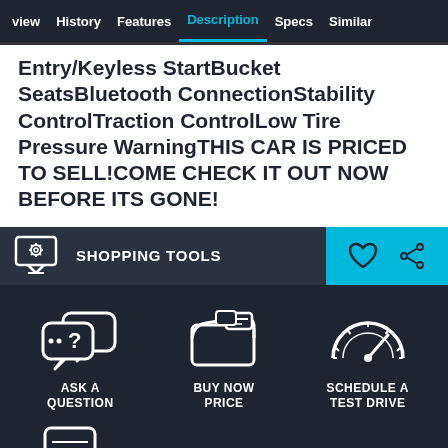view | History | Features | Description | Specs | Similar
Entry/Keyless StartBucket SeatsBluetooth ConnectionStability ControlTraction ControlLow Tire Pressure WarningTHIS CAR IS PRICED TO SELL!COME CHECK IT OUT NOW BEFORE ITS GONE!
SHOPPING TOOLS
[Figure (illustration): Shopping tools icon - gear inside a screen/monitor]
[Figure (illustration): Heart (favorite) and share icons on cyan background]
[Figure (illustration): Ask a Question icon - chat bubble with question mark]
ASK A QUESTION
[Figure (illustration): Buy Now Price icon - wallet with cards]
BUY NOW PRICE
[Figure (illustration): Schedule a Test Drive icon - speedometer/gauge]
SCHEDULE A TEST DRIVE
[Figure (illustration): Partial mobile/phone icon at bottom]